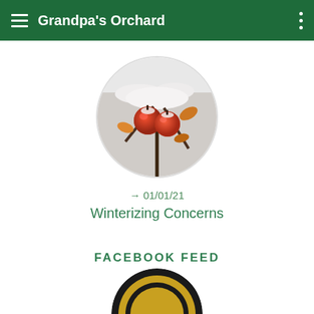Grandpa's Orchard
[Figure (photo): Circular thumbnail photo of snow-covered apples and autumn leaves on tree branches]
→ 01/01/21
Winterizing Concerns
FACEBOOK FEED
[Figure (photo): Partially visible circular logo/image at the bottom of the page, showing a gold and black circular emblem]